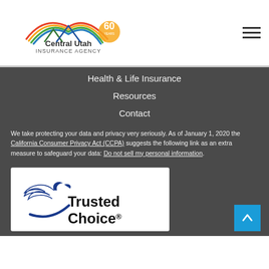[Figure (logo): Central Utah Insurance Agency 60th anniversary logo]
Health & Life Insurance
Resources
Contact
We take protecting your data and privacy very seriously. As of January 1, 2020 the California Consumer Privacy Act (CCPA) suggests the following link as an extra measure to safeguard your data: Do not sell my personal information.
[Figure (logo): Trusted Choice logo with eagle and curved text]